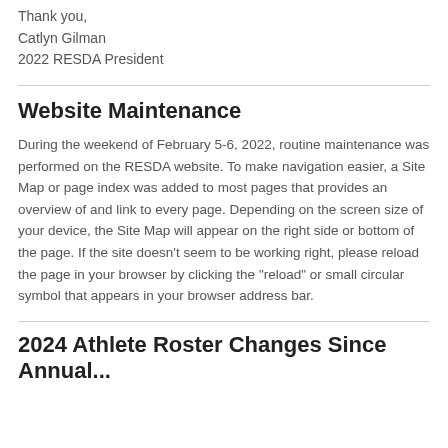Thank you,
Catlyn Gilman
2022 RESDA President
Website Maintenance
During the weekend of February 5-6, 2022, routine maintenance was performed on the RESDA website. To make navigation easier, a Site Map or page index was added to most pages that provides an overview of and link to every page. Depending on the screen size of your device, the Site Map will appear on the right side or bottom of the page. If the site doesn't seem to be working right, please reload the page in your browser by clicking the "reload" or small circular symbol that appears in your browser address bar.
2024 Athelete Roster Changes Since Annual...